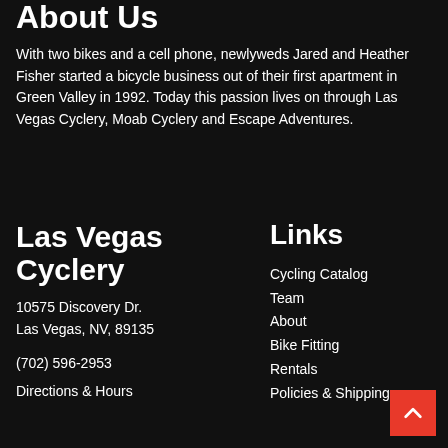About Us
With two bikes and a cell phone, newlyweds Jared and Heather Fisher started a bicycle business out of their first apartment in Green Valley in 1992. Today this passion lives on through Las Vegas Cyclery, Moab Cyclery and Escape Adventures.
Las Vegas Cyclery
10575 Discovery Dr.
Las Vegas, NV, 89135
(702) 596-2953
Directions & Hours
Links
Cycling Catalog
Team
About
Bike Fitting
Rentals
Policies & Shipping